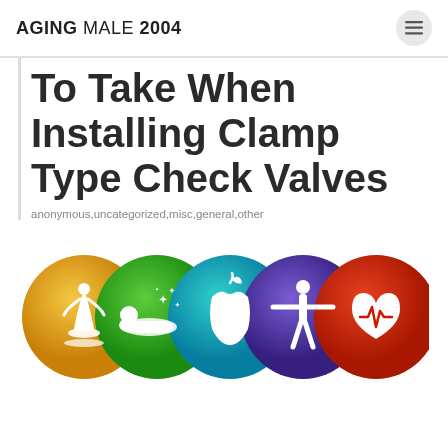AGING MALE 2004
To Take When Installing Clamp Type Check Valves
anonymous,uncategorized,misc,general,other
[Figure (illustration): Five overlapping colored circles with white health/wellness icons: yoga pose (gold), sleeping person with stars (green), apple with leaf (teal), person with arms outstretched (purple), heart with ECG line (red-orange).]